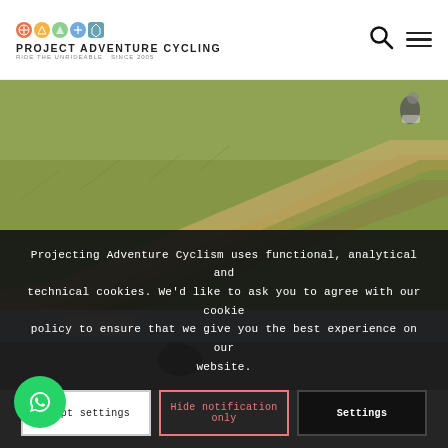PROJECT ADVENTURE CYCLING — Ride the Unrideable SINCE 2005
[Figure (photo): Grassy dirt track field with two cyclists visible at far right, shot from low angle showing a diagonal path through dry grassland]
[Figure (photo): Partially visible second photo with grey sky and 'MB' text overlay partially cut off]
Projecting Adventure Cyclism uses functional, analytical and technical cookies. We'd like to ask you to agree with our cookie policy to ensure that we give you the best experience on our website.
Accept settings
Hide notification only
Settings